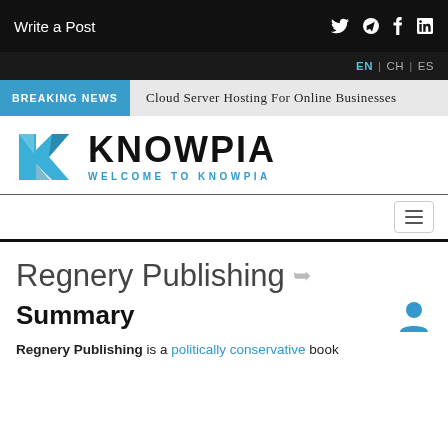Write a Post
EN | CH | ES
BREAKING NEWS   Cloud Server Hosting For Online Businesses
[Figure (logo): Knowpia logo with blue angular K icon and KNOWPIA wordmark with WELCOME TO KNOWPIA subtitle]
Regnery Publishing
Summary
Regnery Publishing is a politically conservative book publisher...